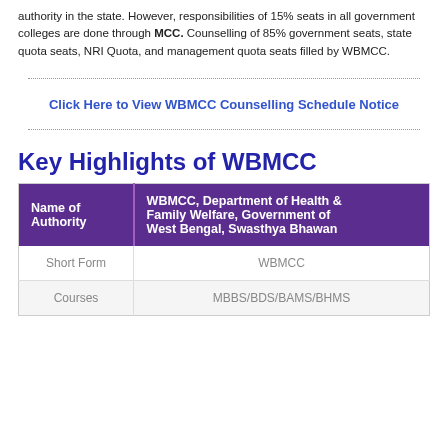authority in the state. However, responsibilities of 15% seats in all government colleges are done through MCC. Counselling of 85% government seats, state quota seats, NRI Quota, and management quota seats filled by WBMCC.
Click Here to View WBMCC Counselling Schedule Notice
Key Highlights of WBMCC
| Name of Authority | WBMCC, Department of Health & Family Welfare, Government of West Bengal, Swasthya Bhawan |
| --- | --- |
| Short Form | WBMCC |
| Courses | MBBS/BDS/BAMS/BHMS |